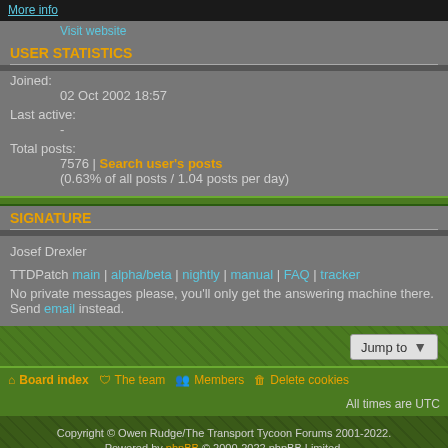More info
Visit website
USER STATISTICS
Joined:
    02 Oct 2002 18:57
Last active:
    -
Total posts:
    7576 | Search user's posts
    (0.63% of all posts / 1.04 posts per day)
SIGNATURE
Josef Drexler

TTDPatch main | alpha/beta | nightly | manual | FAQ | tracker
No private messages please, you'll only get the answering machine there. Send email instead.
Jump to
Board index | The team | Members | Delete cookies | All times are UTC
Copyright © Owen Rudge/The Transport Tycoon Forums 2001-2022.
Powered by phpBB © 2000-2022 phpBB Limited.
Hosted by Zemebok Hosting.
Privacy | Terms